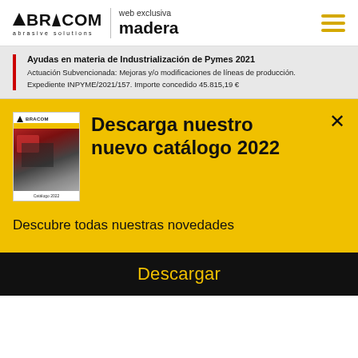[Figure (logo): ABRACOM abrasive solutions logo with triangle A, vertical divider, and 'web exclusiva madera' text. Hamburger menu icon in yellow on the right.]
Ayudas en materia de Industrialización de Pymes 2021
Actuación Subvencionada: Mejoras y/o modificaciones de líneas de producción.
Expediente INPYME/2021/157. Importe concedido 45.815,19 €
Descarga nuestro nuevo catálogo 2022
Descubre todas nuestras novedades
Descargar